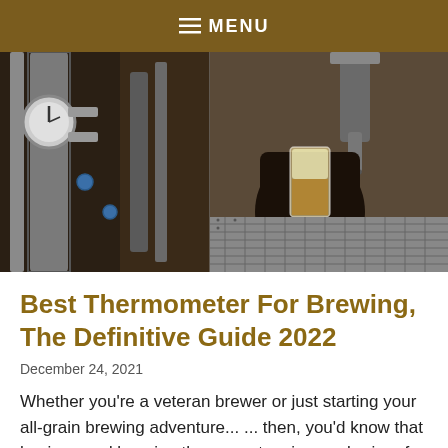≡ MENU
[Figure (photo): Brewery scene: left side shows stainless steel brewing equipment with gauges and pipes; right side shows a hand holding a glass of beer being filled from a tap over a metal grate surface.]
Best Thermometer For Brewing, The Definitive Guide 2022
December 24, 2021
Whether you're a veteran brewer or just starting your all-grain brewing adventure... ... then, you'd know that having good brewing thermometers is a no-brainer for brewers like you. Having the best brewing thermometer...